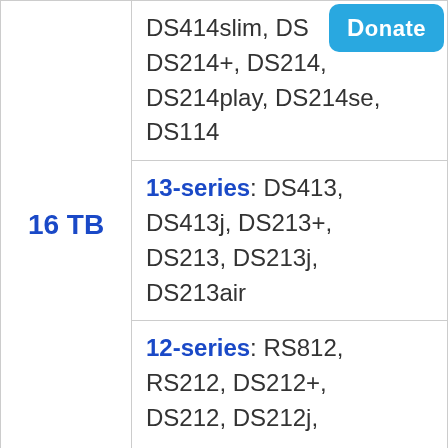| Capacity | Compatible Models |
| --- | --- |
| 16 TB | 14-series: DS414slim, DS…, DS214+, DS214, DS214play, DS214se, DS114 |
|  | 13-series: DS413, DS413j, DS213+, DS213, DS213j, DS213air |
|  | 12-series: RS812, RS212, DS212+, DS212, DS212j, |